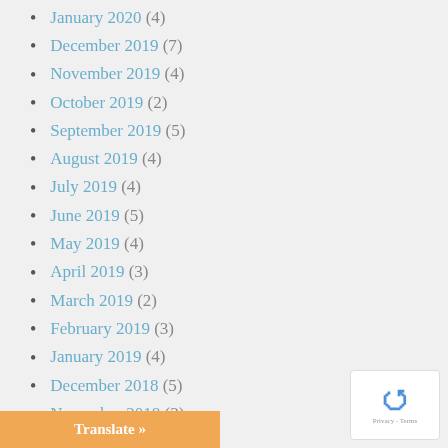January 2020 (4)
December 2019 (7)
November 2019 (4)
October 2019 (2)
September 2019 (5)
August 2019 (4)
July 2019 (4)
June 2019 (5)
May 2019 (4)
April 2019 (3)
March 2019 (2)
February 2019 (3)
January 2019 (4)
December 2018 (5)
November 2018 (3)
2018 (3)